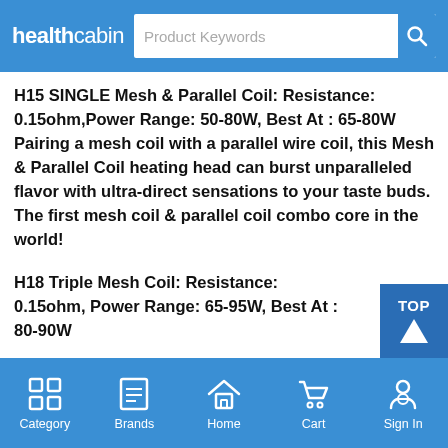healthcabin — Product Keywords search bar
H15 SINGLE Mesh & Parallel Coil: Resistance: 0.15ohm,Power Range: 50-80W, Best At : 65-80W Pairing a mesh coil with a parallel wire coil, this Mesh & Parallel Coil heating head can burst unparalleled flavor with ultra-direct sensations to your taste buds. The first mesh coil & parallel coil combo core in the world!
H18 Triple Mesh Coil: Resistance: 0.15ohm, Power Range: 65-95W, Best At : 80-90W
Category | Brands | Home | Cart | Sign In